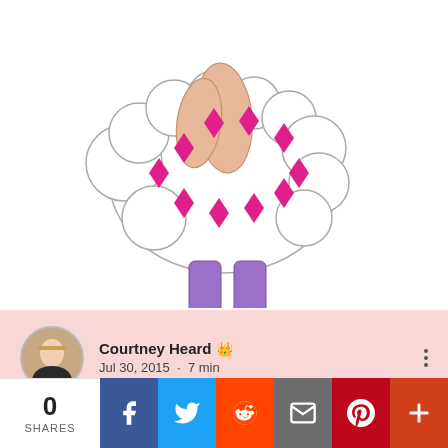[Figure (illustration): A child's pencil drawing of a sheep or fluffy creature with pink/magenta diamond shapes on its white cloud-like body, two purple legs, and dark hooves. The figure's arms/hands are shown holding or crossed. Peach/skin-colored arms visible at top.]
Courtney Heard 👑
Jul 30, 2015  ·  7 min
Atheist Life Hacks: How
0 SHARES | Facebook | Twitter | Reddit | Email | Pinterest | +